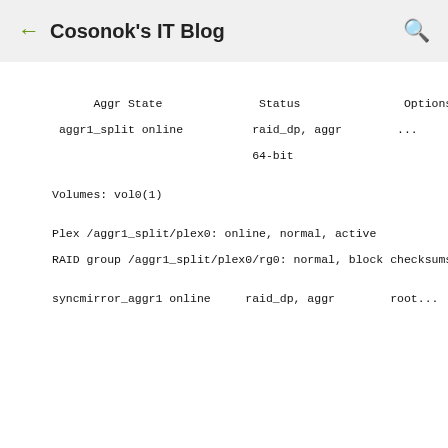← Cosonok's IT Blog 🔍
Aggr State                Status               Options

 aggr1_split online             raid_dp, aggr        ...

                                64-bit

Volumes: vol0(1)


Plex /aggr1_split/plex0: online, normal, active

RAID group /aggr1_split/plex0/rg0: normal, block checksums


syncmirror_aggr1 online         raid_dp, aggr        root...